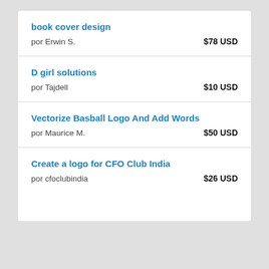book cover design | por Erwin S. | $78 USD
D girl solutions | por Tajdell | $10 USD
Vectorize Basball Logo And Add Words | por Maurice M. | $50 USD
Create a logo for CFO Club India | por cfoclubindia | $26 USD